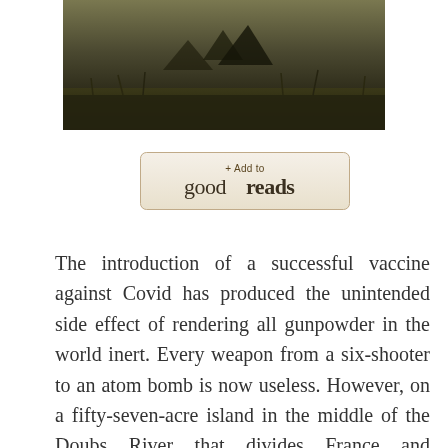[Figure (photo): A dark photograph showing a scene with grass/field in the background, partially visible at the top of the page.]
[Figure (logo): Goodreads '+Add to goodreads' button with beige/tan background and rounded corners.]
The introduction of a successful vaccine against Covid has produced the unintended side effect of rendering all gunpowder in the world inert. Every weapon from a six-shooter to an atom bomb is now useless. However, on a fifty-seven-acre island in the middle of the Doubs River that divides France and Switzerland, a dairy farmer’s prized cheese spread has gone into short supply and the world is about to go to war over its loss.